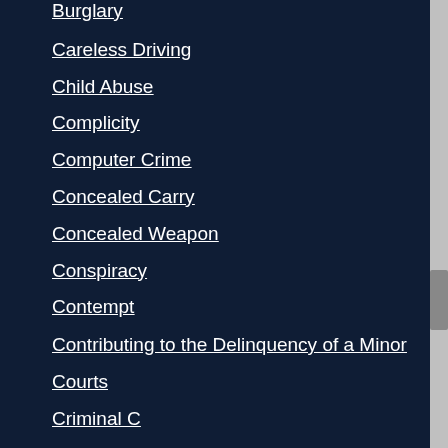Burglary
Careless Driving
Child Abuse
Complicity
Computer Crime
Concealed Carry
Concealed Weapon
Conspiracy
Contempt
Contributing to the Delinquency of a Minor
Courts
Criminal C...